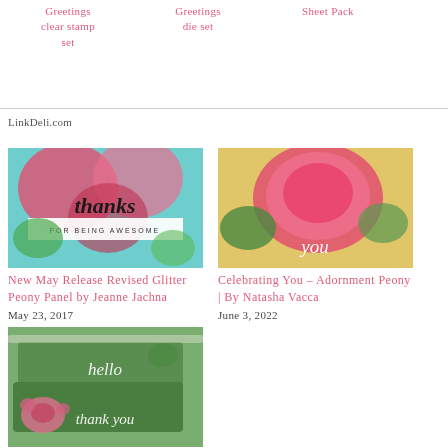| Greetings clear stamp set | Greetings die set | Sheet Pack |
| --- | --- | --- |
LinkDeli.com
[Figure (photo): Craft card with 'thanks FOR BEING AWESOME' text on floral background with red and pink flowers on teal]
New May Release Revised Glitter Peony Panel by Jeanne Jachna
May 23, 2017
[Figure (photo): Craft card with 'you' text and large pink glittery peony flower on yellow background]
Celebrating You – Adornment Peony | By Natasha Vacca
June 3, 2022
[Figure (photo): Craft cards with 'hello' and 'thank you' text on green background with cherry/peony motifs]
Peony Bloom Stackable Dies By